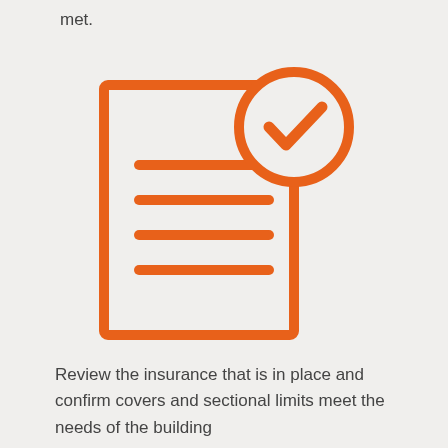met.
[Figure (illustration): Orange line-art icon of a document/checklist with horizontal lines representing text, overlaid with a circle containing a checkmark in the upper right corner. Both the document outline and the checkmark circle are drawn in orange.]
Review the insurance that is in place and confirm covers and sectional limits meet the needs of the building